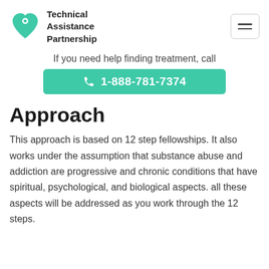Technical Assistance Partnership
If you need help finding treatment, call
1-888-781-7374
Approach
This approach is based on 12 step fellowships. It also works under the assumption that substance abuse and addiction are progressive and chronic conditions that have spiritual, psychological, and biological aspects. all these aspects will be addressed as you work through the 12 steps.